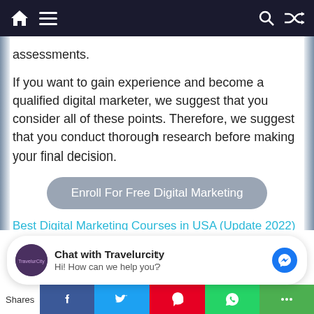Navigation bar with home, menu, search, and shuffle icons
assessments.
If you want to gain experience and become a qualified digital marketer, we suggest that you consider all of these points. Therefore, we suggest that you conduct thorough research before making your final decision.
[Figure (other): Button: Enroll For Free Digital Marketing]
Best Digital Marketing Courses in USA (Update 2022)(Opens in a new browser tab)
Chat with Travelurcity
Hi! How can we help you?
Shares [Facebook] [Twitter] [Pinterest] [WhatsApp] [More]